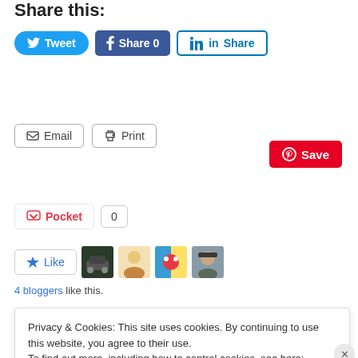Share this:
[Figure (screenshot): Social sharing buttons: Tweet (Twitter, blue rounded), Share 0 (Facebook, dark blue), Share (LinkedIn, outlined), Save (Pinterest, red)]
[Figure (screenshot): Email and Print buttons (outlined), Post (Tumblr, dark navy), Pocket button with count 0]
[Figure (screenshot): Like button with star icon and 4 blogger avatars]
4 bloggers like this.
October 30, 2012   Leave a Reply
Privacy & Cookies: This site uses cookies. By continuing to use this website, you agree to their use.
To find out more, including how to control cookies, see here: Cookie Policy
Close and accept